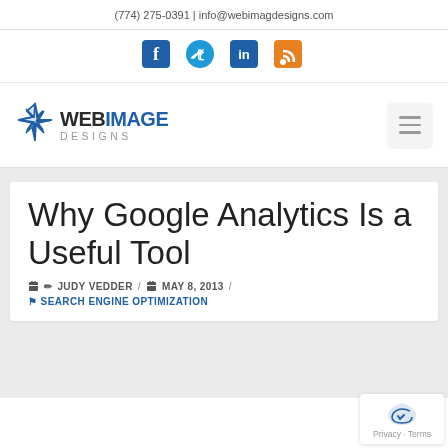(774) 275-0391 | info@webimagdesigns.com
[Figure (illustration): Social media icons: Facebook, Twitter, LinkedIn, RSS feed]
[Figure (logo): Web Image Designs logo with compass star icon]
Why Google Analytics Is a Useful Tool
✏ JUDY VEDDER / 📅 MAY 8, 2013 /
SEARCH ENGINE OPTIMIZATION